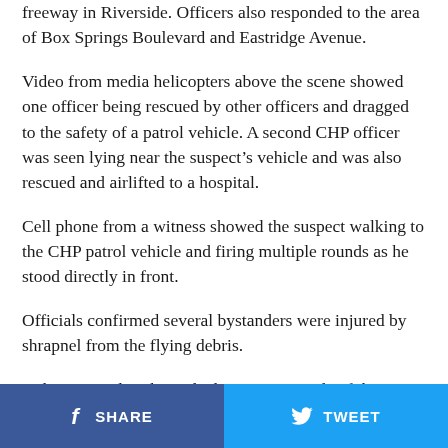freeway in Riverside. Officers also responded to the area of Box Springs Boulevard and Eastridge Avenue.
Video from media helicopters above the scene showed one officer being rescued by other officers and dragged to the safety of a patrol vehicle. A second CHP officer was seen lying near the suspect’s vehicle and was also rescued and airlifted to a hospital.
Cell phone from a witness showed the suspect walking to the CHP patrol vehicle and firing multiple rounds as he stood directly in front.
Officials confirmed several bystanders were injured by shrapnel from the flying debris.
Helicopter video showed a large gun outside of the
SHARE   TWEET   ...